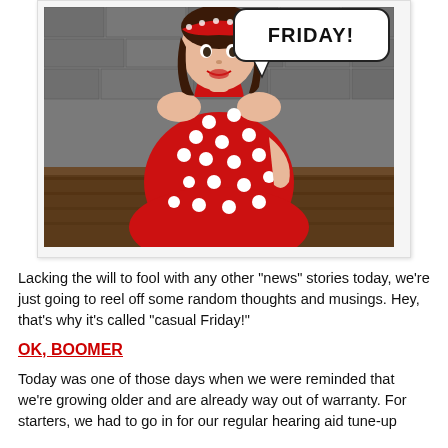[Figure (photo): A woman in a red polka-dot dress and matching headband poses in a pin-up style against a stone wall background. A comic-style speech bubble in the upper right reads 'FRIDAY!' The photo is displayed in a light gray frame with a slight shadow.]
Lacking the will to fool with any other "news" stories today, we're just going to reel off some random thoughts and musings. Hey, that's why it's called "casual Friday!"
OK, BOOMER
Today was one of those days when we were reminded that we're growing older and are already way out of warranty. For starters, we had to go in for our regular hearing aid tune-up